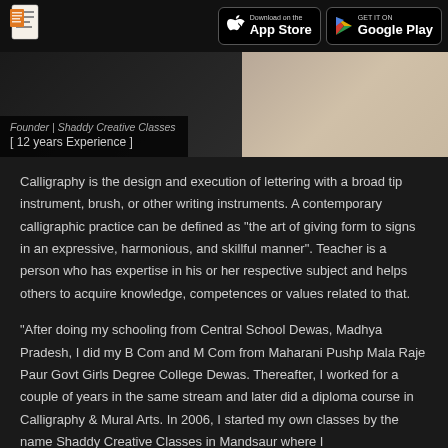Download on the App Store | GET IT ON Google Play
[Figure (photo): Banner image showing founder of Shaddy Creative Classes with overlay text: Founder | Shaddy Creative Classes, [ 12 years Experience ]]
Calligraphy is the design and execution of lettering with a broad tip instrument, brush, or other writing instruments. A contemporary calligraphic practice can be defined as "the art of giving form to signs in an expressive, harmonious, and skillful manner". Teacher is a person who has expertise in his or her respective subject and helps others to acquire knowledge, competences or values related to that.
"After doing my schooling from Central School Dewas, Madhya Pradesh, I did my B Com and M Com from Maharani Pushp Mala Raje Paur Govt Girls Degree College Dewas. Thereafter, I worked for a couple of years in the same stream and later did a diploma course in Calligraphy & Mural Arts. In 2006, I started my own classes by the name Shaddy Creative Classes in Mandsaur where I